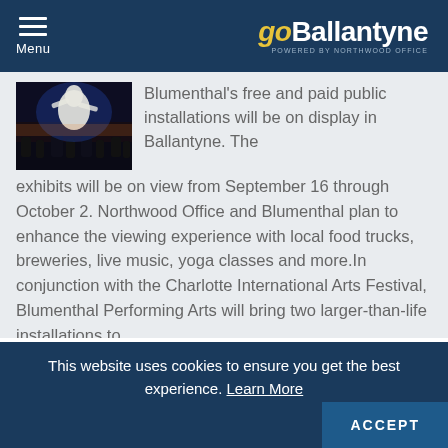Menu | go Ballantyne POWERED BY NORTHWOOD OFFICE
[Figure (photo): Night-time photo of a large illuminated white sculpture of a figure surrounded by a crowd]
Blumenthal's free and paid public installations will be on display in Ballantyne. The exhibits will be on view from September 16 through October 2. Northwood Office and Blumenthal plan to enhance the viewing experience with local food trucks, breweries, live music, yoga classes and more.In conjunction with the Charlotte International Arts Festival, Blumenthal Performing Arts will bring two larger-than-life installations to
This website uses cookies to ensure you get the best experience. Learn More
ACCEPT